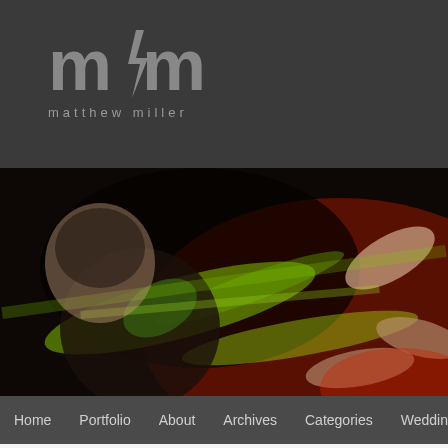[Figure (logo): Matthew Miller photography logo — stylized 'mm' letters with lightning bolt, text 'matthew miller' below]
[Figure (photo): Concert/music photography: tattooed performer with motion blur, vivid green and red lighting, hands raised in darkness]
Home   Portfolio   About   Archives   Categories   Wedding
Tag Archives: my life rules